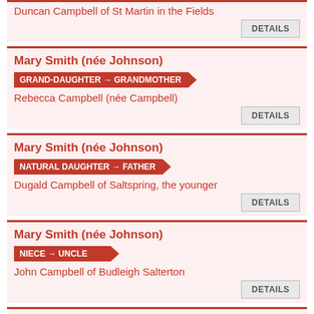Duncan Campbell of St Martin in the Fields
DETAILS
Mary Smith (née Johnson)
GRAND-DAUGHTER → GRANDMOTHER
Rebecca Campbell (née Campbell)
DETAILS
Mary Smith (née Johnson)
NATURAL DAUGHTER → FATHER
Dugald Campbell of Saltspring, the younger
DETAILS
Mary Smith (née Johnson)
NIECE → UNCLE
John Campbell of Budleigh Salterton
DETAILS
Mary Smith (née Johnson)
NIECE → UNCLE
Duncan Campbell of Alfred Place, Bedford